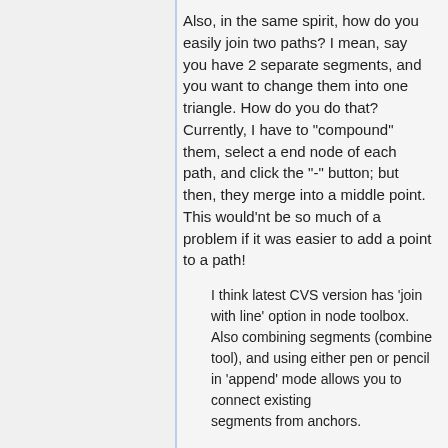Also, in the same spirit, how do you easily join two paths? I mean, say you have 2 separate segments, and you want to change them into one triangle. How do you do that? Currently, I have to "compound" them, select a end node of each path, and click the "-" button; but then, they merge into a middle point. This would'nt be so much of a problem if it was easier to add a point to a path!
I think latest CVS version has 'join with line' option in node toolbox. Also combining segments (combine tool), and using either pen or pencil in 'append' mode allows you to connect existing segments from anchors.
-- Nicolas MONNET